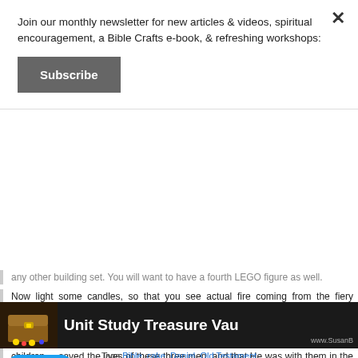Join our monthly newsletter for new articles & videos, spiritual encouragement, a Bible Crafts e-book, & refreshing workshops:
Subscribe
any other building set. You will want to have a fourth LEGO figure as well.
Now light some candles, so that you see actual fire coming from the fiery furnace. Red, orange, or yellow candles would be perfect. Turn out the lights and set the candles on fire. When you blow out the flames, place the fourth figure (Jesus) in the furnace. Then turn on the lights. At this point you can tell the children that God saved the lives of these three men, and that He was with them in the midst of the fire. In the same way in our lives, God is with us in the midst of our suffering and will bring us through it.
[Figure (illustration): Unit Study Treasure Vault banner with treasure chest icon and website URL www.SusanB...]
Tweet
Tags: Bible, cake, Daniel, Old Testament
Posted in Bible | 4 Comments »